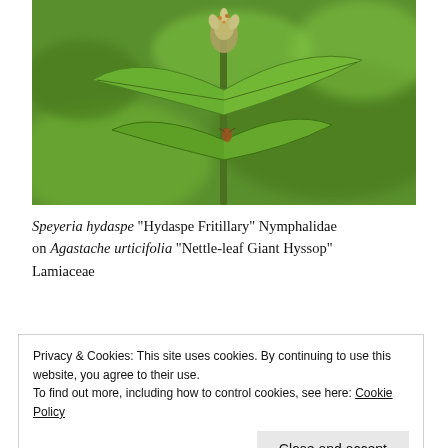[Figure (photo): Close-up photograph of a plant with green leaves and a flower bud, likely showing Agastache urticifolia (Nettle-leaf Giant Hyssop). A butterfly or insect appears near the stem. Background is blurred green foliage.]
Speyeria hydaspe "Hydaspe Fritillary" Nymphalidae on Agastache urticifolia "Nettle-leaf Giant Hyssop" Lamiaceae
Privacy & Cookies: This site uses cookies. By continuing to use this website, you agree to their use. To find out more, including how to control cookies, see here: Cookie Policy